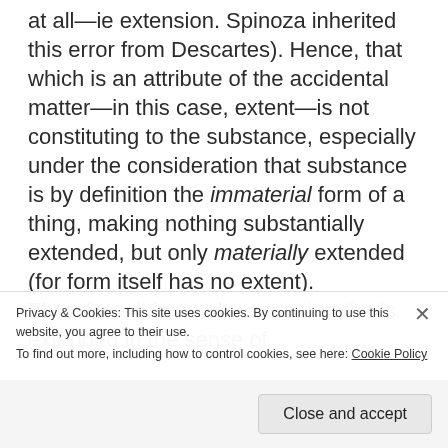at all—ie extension. Spinoza inherited this error from Descartes). Hence, that which is an attribute of the accidental matter—in this case, extent—is not constituting to the substance, especially under the consideration that substance is by definition the immaterial form of a thing, making nothing substantially extended, but only materially extended (for form itself has no extent). Therefore, it is not the case that the is extended in the sense of...
Privacy & Cookies: This site uses cookies. By continuing to use this website, you agree to their use.
To find out more, including how to control cookies, see here: Cookie Policy
Close and accept